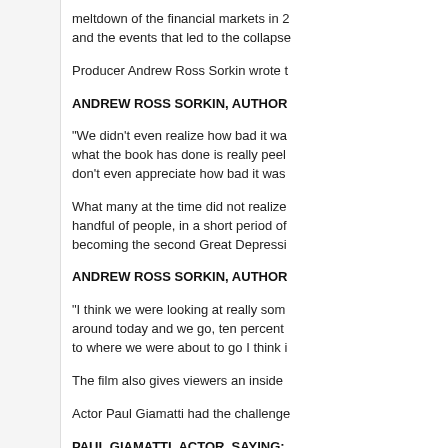meltdown of the financial markets in 2 and the events that led to the collapse
Producer Andrew Ross Sorkin wrote t
ANDREW ROSS SORKIN, AUTHOR
"We didn't even realize how bad it wa what the book has done is really peel don't even appreciate how bad it was
What many at the time did not realize handful of people, in a short period of becoming the second Great Depressi
ANDREW ROSS SORKIN, AUTHOR
"I think we were looking at really som around today and we go, ten percent to where we were about to go I think i
The film also gives viewers an inside
Actor Paul Giamatti had the challenge
PAUL GIAMATTI, ACTOR, SAYING:
"I really didn't know how you would pl all. So I thought that would be interes scenes and is he like that all the time.
Too big to fail premieres on HBO on N